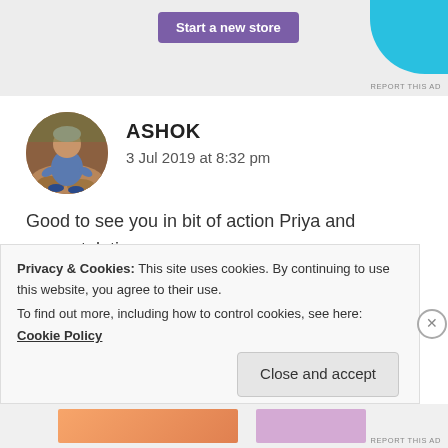[Figure (other): Purple 'Start a new store' button on grey ad banner background with blue decorative shape top right and 'REPORT THIS AD' text]
[Figure (photo): Circular avatar photo of a man (Ashok) sitting outdoors on rocky ground]
ASHOK
3 Jul 2019 at 8:32 pm
Good to see you in bit of action Priya and congratulations.
I hope your studies are on track.
Love and blessings
PS: I have yet to respond to your earlier nomination
Privacy & Cookies: This site uses cookies. By continuing to use this website, you agree to their use.
To find out more, including how to control cookies, see here: Cookie Policy
Close and accept